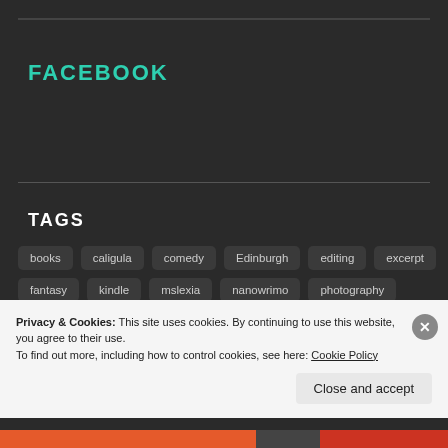FACEBOOK
TAGS
books
caligula
comedy
Edinburgh
editing
excerpt
fantasy
kindle
mslexia
nanowrimo
photography
poetry
postaday
procrastination
publishing
reading
Privacy & Cookies: This site uses cookies. By continuing to use this website, you agree to their use.
To find out more, including how to control cookies, see here: Cookie Policy
Close and accept